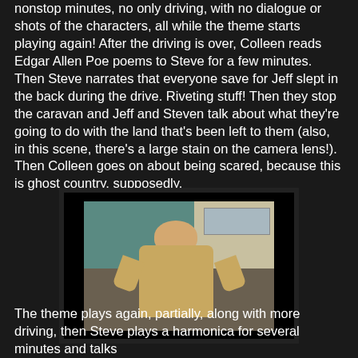nonstop minutes, no only driving, with no dialogue or shots of the characters, all while the theme starts playing again! After the driving is over, Colleen reads Edgar Allen Poe poems to Steve for a few minutes. Then Steve narrates that everyone save for Jeff slept in the back during the drive. Riveting stuff! Then they stop the caravan and Jeff and Steven talk about what they're going to do with the land that's been left to them (also, in this scene, there's a large stain on the camera lens!). Then Colleen goes on about being scared, because this is ghost country, supposedly.
[Figure (photo): A low-quality video still showing a person (appearing to be a heavyset individual) standing outdoors near a building with teal/green siding and a window visible. The image has a dark border and appears to be a screenshot from a home video.]
The theme plays again, partially, along with more driving, then Steve plays a harmonica for several minutes and talks